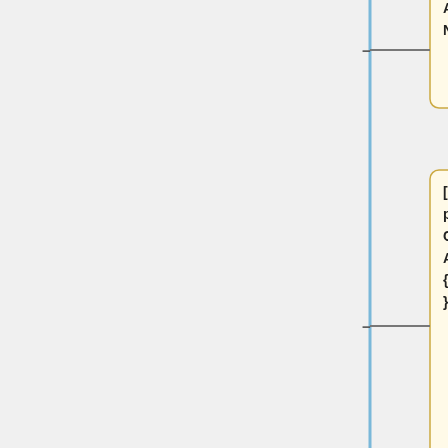[Figure (flowchart): A vertical flowchart/tree diagram with a blue vertical line on the left and horizontal dashes connecting to rounded rectangular nodes with cream/yellow background. Four nodes visible: 1) 'Commands ArmA|ONMAPSINGLECLICK]]' (partially cut off at top), 2) '[[Category:Scripting Commands ArmA2|{{uc:{{PAGENAME}}}}]]', 3) '[[Category:Scripting Commands Arma 3|{{uc:{{PAGENAME}}}}]]', 4) '[[Category:Scripting_Commands_Take_On_Helicopters|{{uc:{{PAGENAME}}}}' (partially cut off at bottom)]